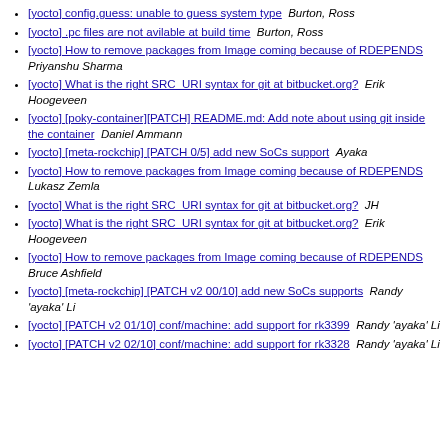[yocto] config.guess: unable to guess system type  Burton, Ross
[yocto] .pc files are not avilable at build time  Burton, Ross
[yocto] How to remove packages from Image coming because of RDEPENDS  Priyanshu Sharma
[yocto] What is the right SRC_URI syntax for git at bitbucket.org?  Erik Hoogeveen
[yocto] [poky-container][PATCH] README.md: Add note about using git inside the container  Daniel Ammann
[yocto] [meta-rockchip] [PATCH 0/5] add new SoCs support  Ayaka
[yocto] How to remove packages from Image coming because of RDEPENDS  Lukasz Zemla
[yocto] What is the right SRC_URI syntax for git at bitbucket.org?  JH
[yocto] What is the right SRC_URI syntax for git at bitbucket.org?  Erik Hoogeveen
[yocto] How to remove packages from Image coming because of RDEPENDS  Bruce Ashfield
[yocto] [meta-rockchip] [PATCH v2 00/10] add new SoCs supports  Randy 'ayaka' Li
[yocto] [PATCH v2 01/10] conf/machine: add support for rk3399  Randy 'ayaka' Li
[yocto] [PATCH v2 02/10] conf/machine: add support for rk3328  Randy 'ayaka' Li